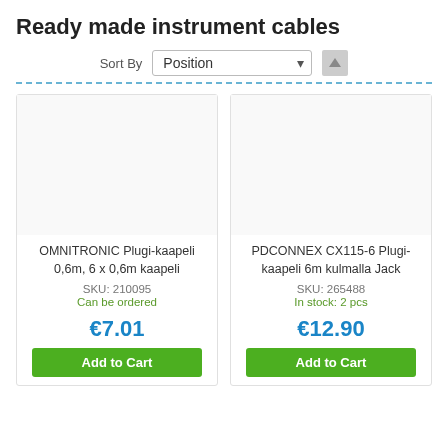Ready made instrument cables
Sort By  Position
[Figure (screenshot): Product card: OMNITRONIC Plugi-kaapeli 0.6m, 6 x 0.6m kaapeli, SKU: 210095, Can be ordered, €7.01, Add to Cart button]
[Figure (screenshot): Product card: PDCONNEX CX115-6 Plugi-kaapeli 6m kulmalla Jack, SKU: 265488, In stock: 2 pcs, €12.90, Add to Cart button]